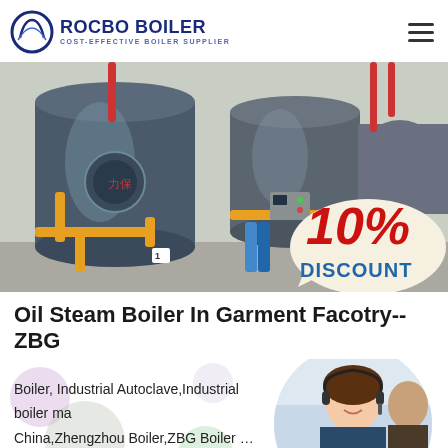ROCBO BOILER — COST-EFFECTIVE BOILER SUPPLIER
[Figure (photo): Industrial oil steam boilers in a factory setting with yellow pipes and red piping, with a 10% DISCOUNT badge in the lower right corner]
Oil Steam Boiler In Garment Facotry--ZBG
Boiler, Industrial Autoclave,Industrial boiler manufacturer in China,Zhengzhou Boiler,ZBG Boiler …